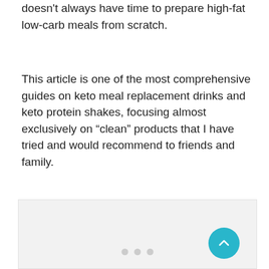doesn't always have time to prepare high-fat low-carb meals from scratch.
This article is one of the most comprehensive guides on keto meal replacement drinks and keto protein shakes, focusing almost exclusively on “clean” products that I have tried and would recommend to friends and family.
[Figure (other): Light gray placeholder image area with three gray dots at the bottom center indicating a carousel/slider, and a teal circular scroll-to-top button at the bottom right.]